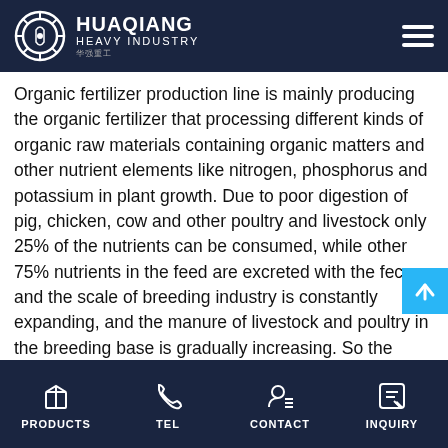HUAQIANG HEAVY INDUSTRY
Organic fertilizer production line is mainly producing the organic fertilizer that processing different kinds of organic raw materials containing organic matters and other nutrient elements like nitrogen, phosphorus and potassium in plant growth. Due to poor digestion of pig, chicken, cow and other poultry and livestock only 25% of the nutrients can be consumed, while other 75% nutrients in the feed are excreted with the feces, and the scale of breeding industry is constantly expanding, and the manure of livestock and poultry in the breeding base is gradually increasing. So the livestock and poultry manure is the best organic fertilizer raw materials. Second.The location of the organic fertilizer production factory: The scale of livestock and poultry breeding is large, lands in planting area is wide, agricultural crops and economic crops production needs to consume large amounts of biological
PRODUCTS  TEL  CONTACT  INQUIRY